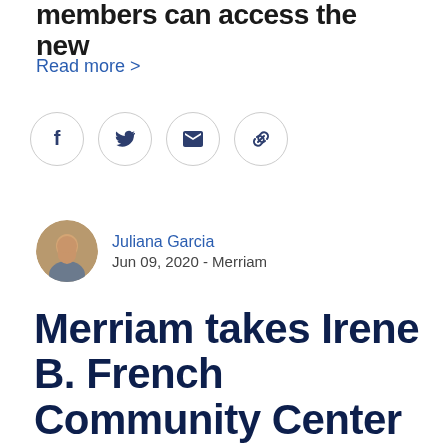members can access the new
Read more >
[Figure (other): Social sharing icons: Facebook, Twitter, Email, Link]
[Figure (photo): Author avatar photo of Juliana Garcia]
Juliana Garcia
Jun 09, 2020 - Merriam
Merriam takes Irene B. French Community Center to bid for demolition estimates